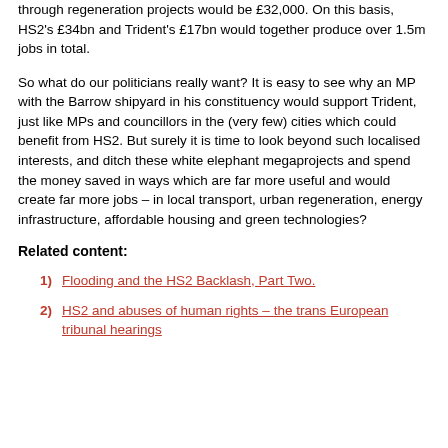through regeneration projects would be £32,000. On this basis, HS2's £34bn and Trident's £17bn would together produce over 1.5m jobs in total.
So what do our politicians really want? It is easy to see why an MP with the Barrow shipyard in his constituency would support Trident, just like MPs and councillors in the (very few) cities which could benefit from HS2. But surely it is time to look beyond such localised interests, and ditch these white elephant megaprojects and spend the money saved in ways which are far more useful and would create far more jobs – in local transport, urban regeneration, energy infrastructure, affordable housing and green technologies?
Related content:
1) Flooding and the HS2 Backlash, Part Two.
2) HS2 and abuses of human rights – the trans European tribunal hearings